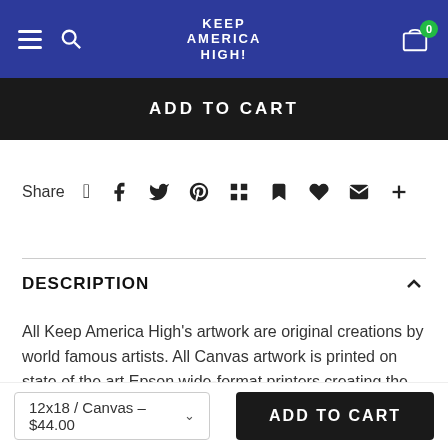KEEP AMERICA HIGH!
ADD TO CART
Share
DESCRIPTION
All Keep America High's artwork are original creations by world famous artists. All Canvas artwork is printed on state of the art Epson wide-format printers creating the best colors and contrasts for high quality reproductions. All canvas is printed on museum quality canvas and UV coated for ultimate protection. Then each piece is hand stretched on 1.5 inch real wood stretcher bars. Available in
12x18 / Canvas – $44.00
ADD TO CART